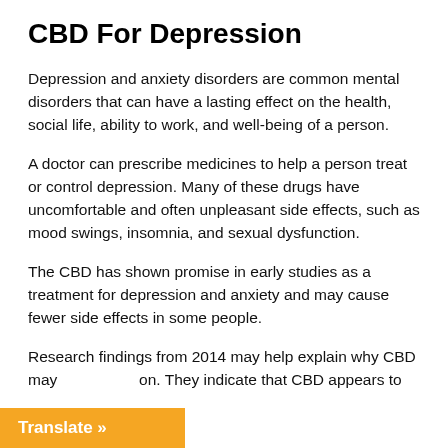CBD For Depression
Depression and anxiety disorders are common mental disorders that can have a lasting effect on the health, social life, ability to work, and well-being of a person.
A doctor can prescribe medicines to help a person treat or control depression. Many of these drugs have uncomfortable and often unpleasant side effects, such as mood swings, insomnia, and sexual dysfunction.
The CBD has shown promise in early studies as a treatment for depression and anxiety and may cause fewer side effects in some people.
Research findings from 2014 may help explain why CBD may on. They indicate that CBD appears to